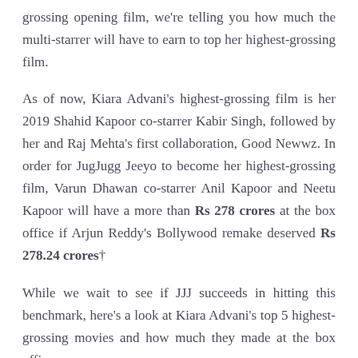grossing opening film, we're telling you how much the multi-starrer will have to earn to top her highest-grossing film.
As of now, Kiara Advani's highest-grossing film is her 2019 Shahid Kapoor co-starrer Kabir Singh, followed by her and Raj Mehta's first collaboration, Good Newwz. In order for JugJugg Jeeyo to become her highest-grossing film, Varun Dhawan co-starrer Anil Kapoor and Neetu Kapoor will have a more than Rs 278 crores at the box office if Arjun Reddy's Bollywood remake deserved Rs 278.24 crores†
While we wait to see if JJJ succeeds in hitting this benchmark, here's a look at Kiara Advani's top 5 highest-grossing movies and how much they made at the box office:
Kabir Singh- Rs 278.24 crores
Good News – Rs 201.14 crores